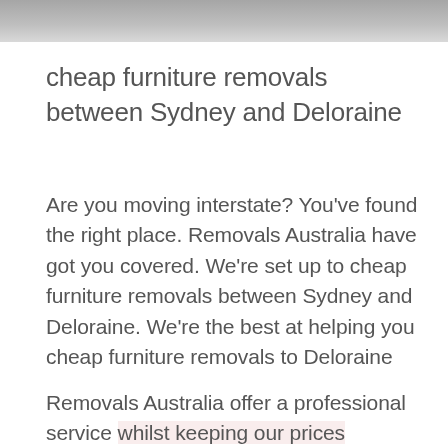[Figure (photo): Partial photo strip at top of page, showing a blurred/cropped image background in dark grays]
cheap furniture removals between Sydney and Deloraine
Are you moving interstate? You've found the right place. Removals Australia have got you covered. We're set up to cheap furniture removals between Sydney and Deloraine. We're the best at helping you cheap furniture removals to Deloraine
Removals Australia offer a professional service whilst keeping our prices affordable. moving is